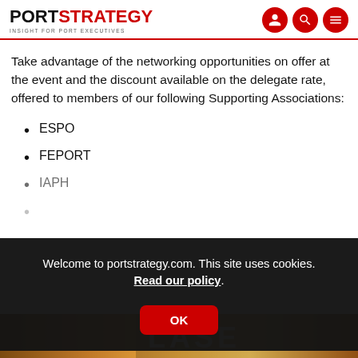PORT STRATEGY — INSIGHT FOR PORT EXECUTIVES
Take advantage of the networking opportunities on offer at the event and the discount available on the delegate rate, offered to members of our following Supporting Associations:
ESPO
FEPORT
IAPH
Welcome to portstrategy.com. This site uses cookies. Read our policy.
[Figure (screenshot): Cookie consent overlay with OK button on dark background, partially covering page content]
[Figure (photo): Bottom banner image with LASE text over a sunset/landscape background]